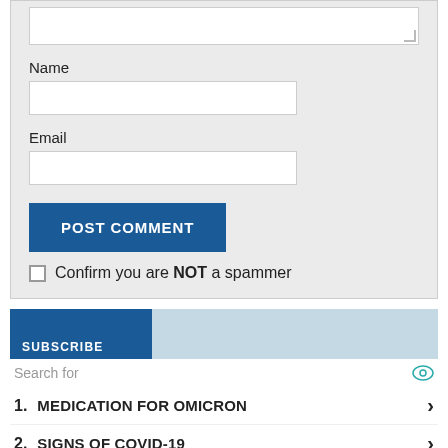[Figure (screenshot): Textarea input box (top, partially visible, with resize handle)]
Name
[Figure (screenshot): Name text input field]
Email
[Figure (screenshot): Email text input field]
POST COMMENT
Confirm you are NOT a spammer
[Figure (screenshot): Subscribe bar with blue section labeled SUBSCRIBE and light blue section]
Search for
1. MEDICATION FOR OMICRON
2. SIGNS OF COVID-19
Ad | Cellphone Guru